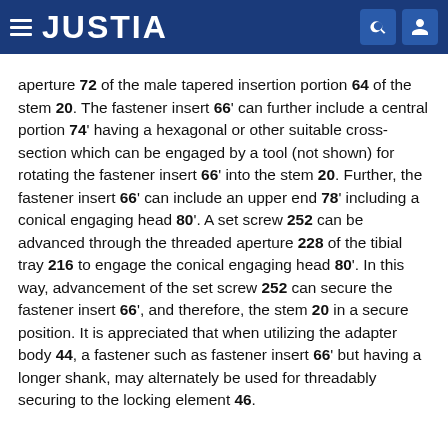JUSTIA
aperture 72 of the male tapered insertion portion 64 of the stem 20. The fastener insert 66' can further include a central portion 74' having a hexagonal or other suitable cross-section which can be engaged by a tool (not shown) for rotating the fastener insert 66' into the stem 20. Further, the fastener insert 66' can include an upper end 78' including a conical engaging head 80'. A set screw 252 can be advanced through the threaded aperture 228 of the tibial tray 216 to engage the conical engaging head 80'. In this way, advancement of the set screw 252 can secure the fastener insert 66', and therefore, the stem 20 in a secure position. It is appreciated that when utilizing the adapter body 44, a fastener such as fastener insert 66' but having a longer shank, may alternately be used for threadably securing to the locking element 46.